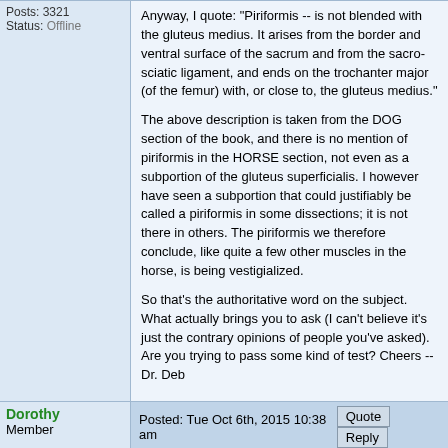Posts: 3321
Status: Offline
Anyway, I quote: "Piriformis -- is not blended with the gluteus medius. It arises from the border and ventral surface of the sacrum and from the sacro-sciatic ligament, and ends on the trochanter major (of the femur) with, or close to, the gluteus medius."
The above description is taken from the DOG section of the book, and there is no mention of piriformis in the HORSE section, not even as a subportion of the gluteus superficialis. I however have seen a subportion that could justifiably be called a piriformis in some dissections; it is not there in others. The piriformis we therefore conclude, like quite a few other muscles in the horse, is being vestigialized.
So that's the authoritative word on the subject. What actually brings you to ask (I can't believe it's just the contrary opinions of people you've asked). Are you trying to pass some kind of test? Cheers -- Dr. Deb
Posted: Tue Oct 6th, 2015 10:38 am
Dorothy
Member
Joined: Fri Jan 15th, 2010
Location: Bath, Somerset, United Kingdom
Posts: 223
Status: Offline
Thank you.
No, I'm not doing any test, but I was looking in my books with reference to another matter, and noticed that piriformis is not mentioned or illustrated in any of them (except the one where it is illustrated, but I don't believe that that actually is piriformis).
It sparked my interest because of the importance of piriformis in the human, not least because of its anatomical association with the sciatic nerve. In some people the nerve actually exits through and is irritated by the piriformis...